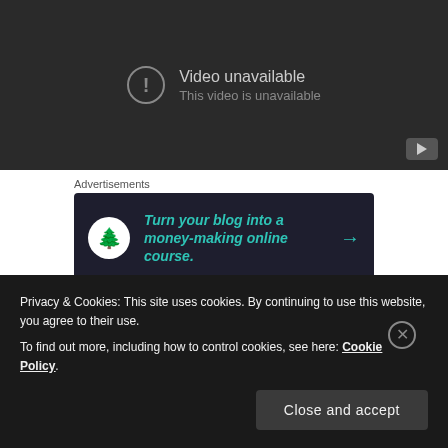[Figure (screenshot): YouTube-style video unavailable placeholder with dark background, exclamation icon in circle, text 'Video unavailable' and 'This video is unavailable', and a YouTube play button in bottom-right corner]
Advertisements
[Figure (screenshot): Dark advertisement banner: 'Turn your blog into a money-making online course.' with logo and arrow]
REPORT THIS AD
Naturally, with a game of this calibre, the magic
Privacy & Cookies: This site uses cookies. By continuing to use this website, you agree to their use.
To find out more, including how to control cookies, see here: Cookie Policy.
Close and accept